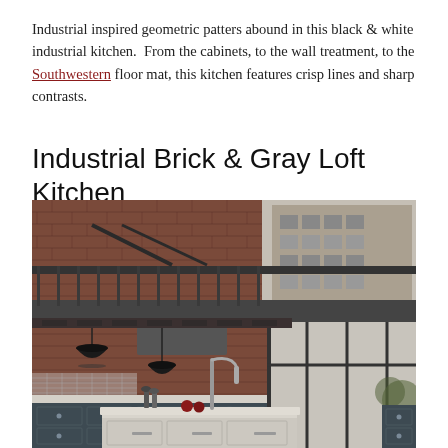Industrial inspired geometric patters abound in this black & white industrial kitchen.  From the cabinets, to the wall treatment, to the Southwestern floor mat, this kitchen features crisp lines and sharp contrasts.
Industrial Brick & Gray Loft Kitchen
[Figure (photo): Interior photograph of an industrial-style loft kitchen featuring exposed red brick walls, dark steel mezzanine railing, black pendant lights, gray shaker-style cabinets, a large kitchen island with light stone countertop, a professional pull-down faucet, and large steel-framed windows.]